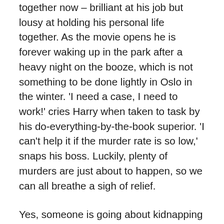together now – brilliant at his job but lousy at holding his personal life together. As the movie opens he is forever waking up in the park after a heavy night on the booze, which is not something to be done lightly in Oslo in the winter. 'I need a case, I need to work!' cries Harry when taken to task by his do-everything-by-the-book superior. 'I can't help it if the murder rate is so low,' snaps his boss. Luckily, plenty of murders are just about to happen, so we can all breathe a sigh of relief.
Yes, someone is going about kidnapping and then murdering women in a quite horrific fashion, and leaving snowmen as his calling card. (It's never made completely clear whether the snowman-building happens before or after all the dismemberment takes place; it strikes me as a rather cumbersome M.O. for a modern serial killer, but what do I know about these things.) Harry isn't initially